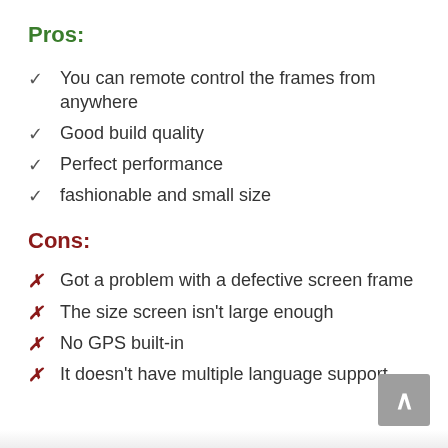Pros:
You can remote control the frames from anywhere
Good build quality
Perfect performance
fashionable and small size
Cons:
Got a problem with a defective screen frame
The size screen isn't large enough
No GPS built-in
It doesn't have multiple language support.